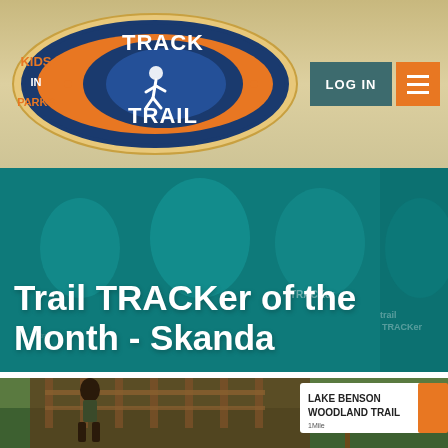[Figure (logo): Kids in Parks TRACK Trail logo - oval shape with orange and blue colors, featuring a runner silhouette]
[Figure (screenshot): LOG IN button (dark teal) and hamburger menu button (orange) in top right of header]
Trail TRACKer of the Month - Skanda
[Figure (photo): Lake Benson Woodland Trail sign with orange square marker, 1 Mile, on a wooden post. A child in a green shirt is running on a wooden boardwalk trail through green forest.]